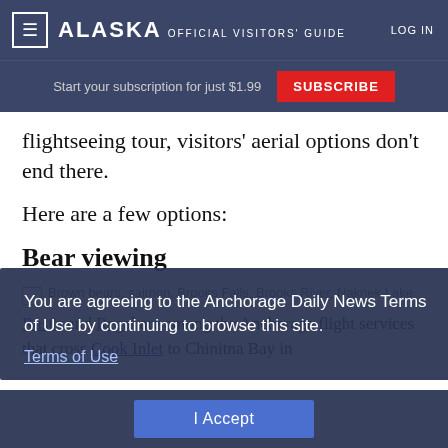Alaska Official Visitors' Guide — LOG IN
Start your subscription for just $1.99  SUBSCRIBE
flightseeing tour, visitors' aerial options don't end there.
Here are a few options:
Bear viewing
[Figure (photo): Partial image with alt text: Brown bears, salmon, Brooks Falls, Brooks River, Naknek Lake]
Rust's and Regal are among the Anchorage flight services that cross Cook Inlet to Chinitna Bay in
You are agreeing to the Anchorage Daily News Terms of Use by continuing to browse this site. Terms of Use
I Accept